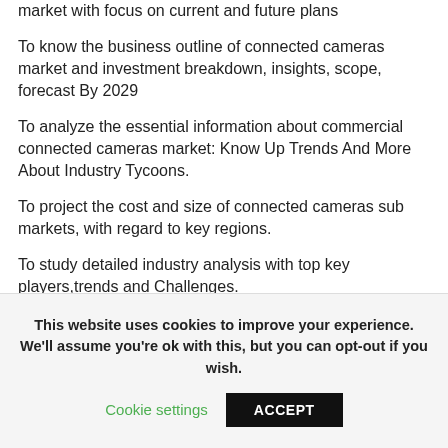market with focus on current and future plans
To know the business outline of connected cameras market and investment breakdown, insights, scope, forecast By 2029
To analyze the essential information about commercial connected cameras market: Know Up Trends And More About Industry Tycoons.
To project the cost and size of connected cameras sub markets, with regard to key regions.
To study detailed industry analysis with top key players,trends and Challenges.
This website uses cookies to improve your experience. We'll assume you're ok with this, but you can opt-out if you wish.
Cookie settings  ACCEPT